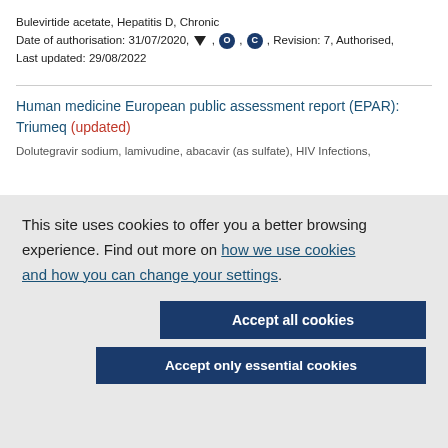Bulevirtide acetate, Hepatitis D, Chronic
Date of authorisation: 31/07/2020, ▼, O, C, Revision: 7, Authorised,
Last updated: 29/08/2022
Human medicine European public assessment report (EPAR): Triumeq (updated)
Dolutegravir sodium, lamivudine, abacavir (as sulfate), HIV Infections,
This site uses cookies to offer you a better browsing experience. Find out more on how we use cookies and how you can change your settings.
Accept all cookies
Accept only essential cookies